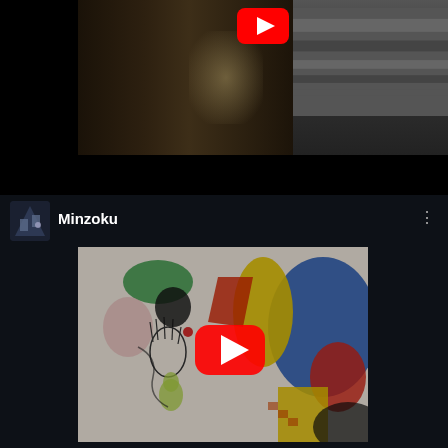[Figure (screenshot): YouTube video thumbnail showing a dark corridor scene on the left and a person wearing a striped Adidas hoodie on the right, with a YouTube play button visible at the top]
[Figure (screenshot): YouTube video listing for channel 'Minzoku' showing a colorful illustrated artwork thumbnail with a YouTube play button overlay, the channel icon, channel name 'Minzoku', and a three-dot menu icon]